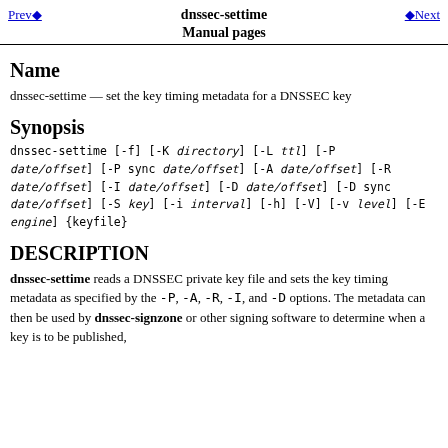dnssec-settime
Manual pages
Prev◆   ◆Next
Name
dnssec-settime — set the key timing metadata for a DNSSEC key
Synopsis
dnssec-settime [-f] [-K directory] [-L ttl] [-P date/offset] [-P sync date/offset] [-A date/offset] [-R date/offset] [-I date/offset] [-D date/offset] [-D sync date/offset] [-S key] [-i interval] [-h] [-V] [-v level] [-E engine] {keyfile}
DESCRIPTION
dnssec-settime reads a DNSSEC private key file and sets the key timing metadata as specified by the -P, -A, -R, -I, and -D options. The metadata can then be used by dnssec-signzone or other signing software to determine when a key is to be published,